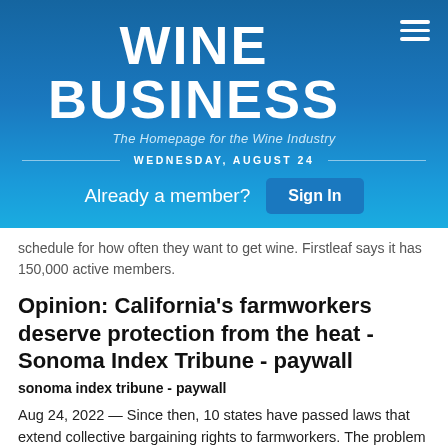WINE BUSINESS
The Homepage for the Wine Industry
WEDNESDAY, AUGUST 24
Already a member?  Sign In
schedule for how often they want to get wine. Firstleaf says it has 150,000 active members.
Opinion: California's farmworkers deserve protection from the heat - Sonoma Index Tribune - paywall
sonoma index tribune - paywall
Aug 24, 2022 — Since then, 10 states have passed laws that extend collective bargaining rights to farmworkers. The problem is that restrictions have been placed on this right to limit its effectiveness. For instance, while agricultural unions may negotiate with their employers in Kansas, Louisiana, and Maine, they are prohibited from striking. Consider New York